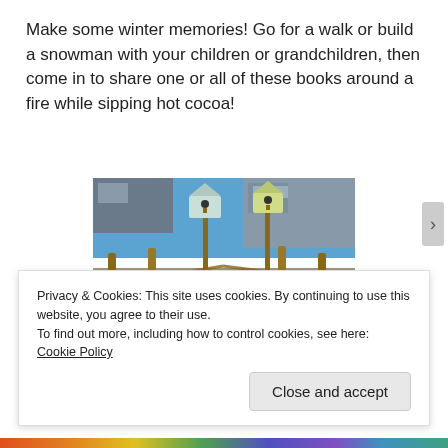Make some winter memories! Go for a walk or build a snowman with your children or grandchildren, then come in to share one or all of these books around a fire while sipping hot cocoa!
[Figure (photo): Outdoor photo showing a snowman wearing a hat and scarf, surrounded by wooden fence posts with decorative birdhouses on top, set against a winter garden with gravel ground and some snow patches, with a building visible in the background.]
Privacy & Cookies: This site uses cookies. By continuing to use this website, you agree to their use.
To find out more, including how to control cookies, see here: Cookie Policy
Close and accept